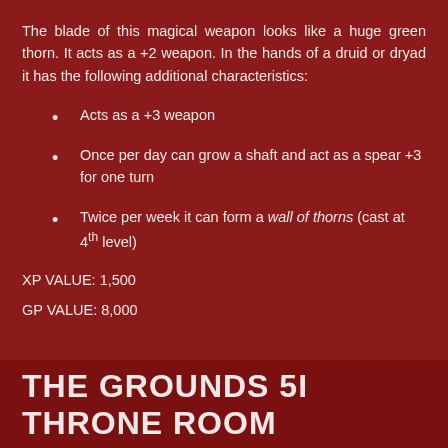The blade of this magical weapon looks like a huge green thorn. It acts as a +2 weapon. In the hands of a druid or dryad it has the following additional characteristics:
Acts as a +3 weapon
Once per day can grow a shaft and act as a spear +3 for one turn
Twice per week it can form a wall of thorns (cast at 4th level)
XP VALUE: 1,500
GP VALUE: 8,000
Darnizhaan at 12:00:00 PM    No comments:    Share
THE GROUNDS 5I THRONE ROOM